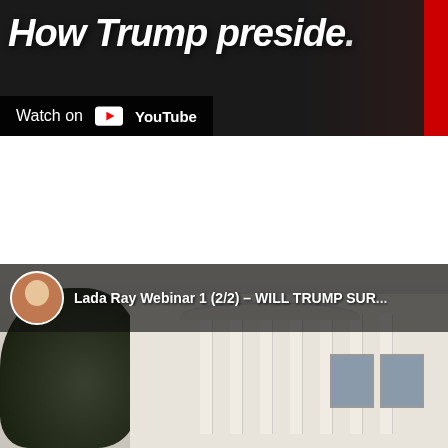[Figure (screenshot): YouTube video thumbnail partially visible showing text 'How Trump preside...' with red accent strip on right, and a 'Watch on YouTube' overlay bar at bottom left]
[Figure (screenshot): YouTube video thumbnail for 'Lada Ray Webinar 1 (2/2) - WILL TRUMP SUR...' showing a photo of the White House with columns, trees in foreground, and channel avatar of a woman in top-left corner]